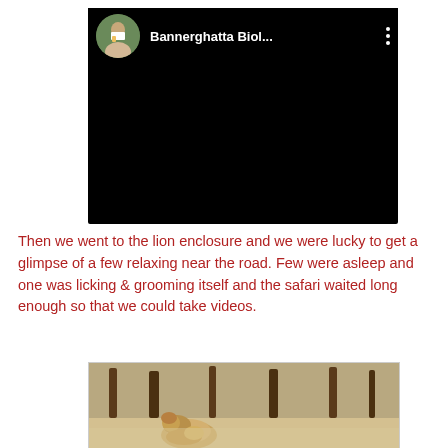[Figure (screenshot): Embedded video player showing a YouTube-style video with a circular avatar of a person and channel name 'Bannerghatta Biol...' with a three-dot menu icon, video content area is black]
Then we went to the lion enclosure and we were lucky to get a glimpse of a few relaxing near the road. Few were asleep and one was licking & grooming itself and the safari waited long enough so that we could take videos.
[Figure (photo): Photograph of a lion resting near trees in a forested area, likely taken during the safari at Bannerghatta Biological Park]